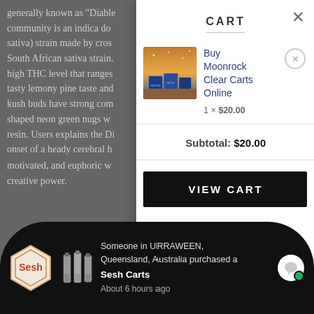generally known as "Diablo community is an indica do sativa) strain made by cross South African sativa strain. high THC level that ranges tasty lemony pine taste and kush buds have strong com shaped neon green nugs w resin. Users explains the Di onset of a heady cerebral h motivated, and euphoric w creative power.
BUY DIABLO OG C
The amazing aspect of this
CART
Buy Moonrock Clear Carts Online
1 × $20.00
Subtotal: $20.00
VIEW CART
Someone in URRAWEEN, Queensland, Australia purchased a
Sesh Carts
About 6 hours ago